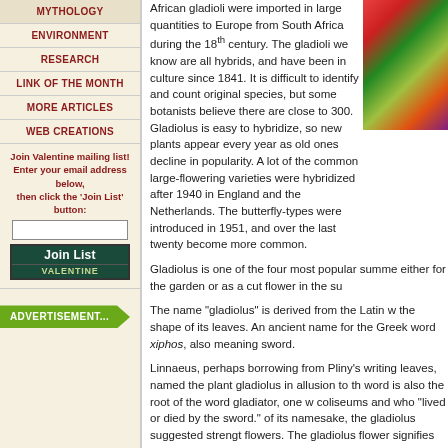MYTHOLOGY
ENVIRONMENT
RESEARCH
LINK OF THE MONTH
MORE ARTICLES
WEB CREATIONS
Join Valentine mailing list! Enter your email address below, then click the 'Join List' button:
ADVERTISEMENT...
[Figure (photo): Photo of colorful gladiolus flowers]
African gladioli were imported in large quantities to Europe from South Africa during the 18th century. The gladioli we know are all hybrids, and have been in culture since 1841. It is difficult to identify and count original species, but some botanists believe there are close to 300. Gladiolus is easy to hybridize, so new plants appear every year as old ones decline in popularity. A lot of the common large-flowering varieties were hybridized after 1940 in England and the Netherlands. The butterfly-types were introduced in 1951, and over the last twenty become more common.
Gladiolus is one of the four most popular summe either for the garden or as a cut flower in the su
The name "gladiolus" is derived from the Latin w the shape of its leaves. An ancient name for the Greek word xiphos, also meaning sword.
Linnaeus, perhaps borrowing from Pliny's writing leaves, named the plant gladiolus in allusion to th word is also the root of the word gladiator, one w coliseums and who "lived or died by the sword." of its namesake, the gladiolus suggested strengt flowers. The gladiolus flower signifies remembra telling the receiver that he or she "pierces the he